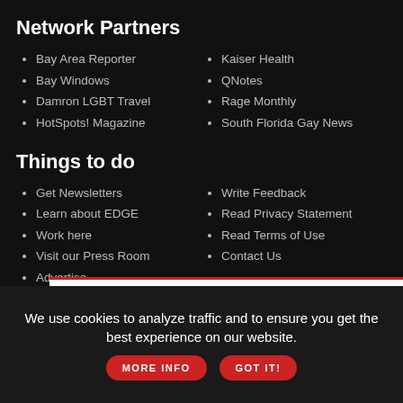Network Partners
Bay Area Reporter
Bay Windows
Damron LGBT Travel
HotSpots! Magazine
Kaiser Health
QNotes
Rage Monthly
South Florida Gay News
Things to do
Get Newsletters
Learn about EDGE
Work here
Visit our Press Room
Advertise
Write Feedback
Read Privacy Statement
Read Terms of Use
Contact Us
RELATED STORY
Email Us
We use cookies to analyze traffic and to ensure you get the best experience on our website. MORE INFO GOT IT!